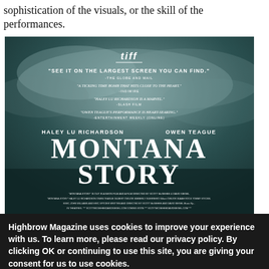sophistication of the visuals, or the skill of the performances.
[Figure (photo): Movie poster for 'Montana Story' featuring a dark stormy sky background. TIFF festival logo at top. Quotes praising the film: 'See it on the largest screen you can find.' -The Globe and Mail. 'A ticking time bomb that hits close to the heart.' 'Haley Lu Richardson is a marvel.' 'Owen Teague's performance is heart-searing.' Stars listed: Haley Lu Richardson, Owen Teague. Film title: MONTANA STORY. Credits block at bottom.]
Highbrow Magazine uses cookies to improve your experience with us. To learn more, please read our privacy policy. By clicking OK or continuing to use this site, you are giving your consent for us to use cookies.
More info